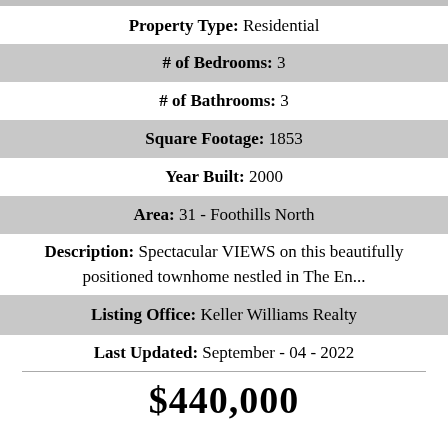Property Type: Residential
# of Bedrooms: 3
# of Bathrooms: 3
Square Footage: 1853
Year Built: 2000
Area: 31 - Foothills North
Description: Spectacular VIEWS on this beautifully positioned townhome nestled in The En...
Listing Office: Keller Williams Realty
Last Updated: September - 04 - 2022
$440,000